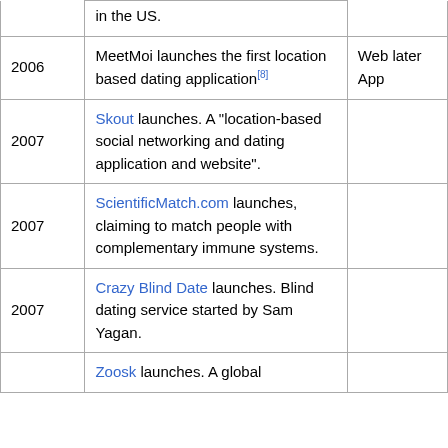| Year | Description | Type |
| --- | --- | --- |
|  | in the US. |  |
| 2006 | MeetMoi launches the first location based dating application[8] | Web later App |
| 2007 | Skout launches. A "location-based social networking and dating application and website". |  |
| 2007 | ScientificMatch.com launches, claiming to match people with complementary immune systems. |  |
| 2007 | Crazy Blind Date launches. Blind dating service started by Sam Yagan. |  |
|  | Zoosk launches. A global |  |